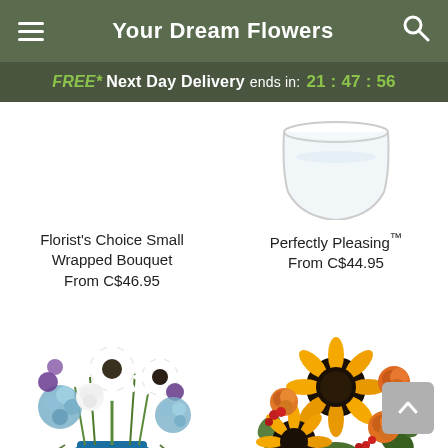Your Dream Flowers
FREE* Next Day Delivery ends in: 21:47:56
[Figure (photo): Partial top of a glass vase with clear water, cut off at top of frame]
Florist's Choice Small Wrapped Bouquet
From C$46.95
Perfectly Pleasing™
From C$44.95
[Figure (photo): Blue glass vase with white gerberas, white carnations, blue hydrangeas, and purple flowers arranged in a lush bouquet]
[Figure (photo): Glass vase with sunflowers, orange roses, and red berries in a warm autumn arrangement]